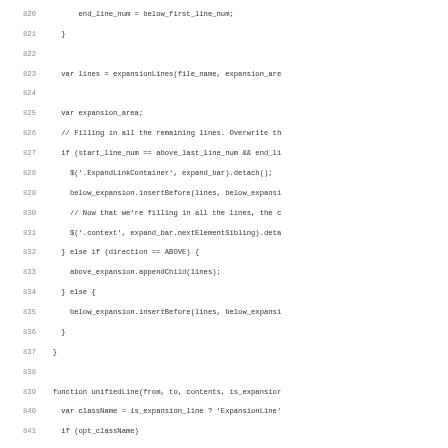Source code listing, lines 820–851, JavaScript code for unified diff expansion viewer